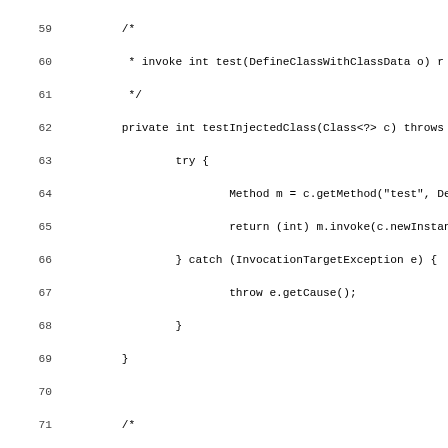[Figure (screenshot): Source code listing in Java, lines 59-88, showing methods testInjectedClass, injectedData, a classData field, and the beginning of defineNestMate test method.]